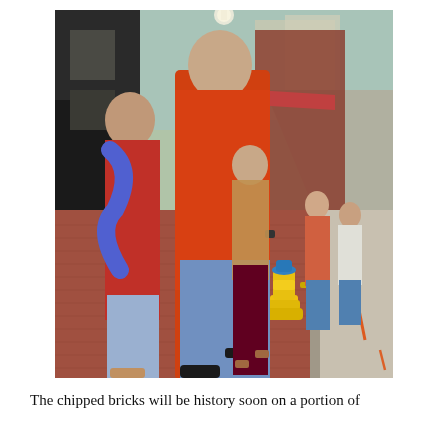[Figure (photo): Street-level photograph of people walking on a brick sidewalk in an urban downtown area. In the foreground, a man wearing an orange t-shirt and jeans walks beside an older woman in a red top with a blue scarf. Behind them, a young woman in a floral tank top and dark pants walks carrying a bag. In the background, more pedestrians walk along the brick sidewalk past storefronts. A yellow fire hydrant with a blue top stands on the right side of the sidewalk. The street curves away into the distance lined with brick buildings. Orange spray paint marks are visible on the bricks.]
The chipped bricks will be history soon on a portion of